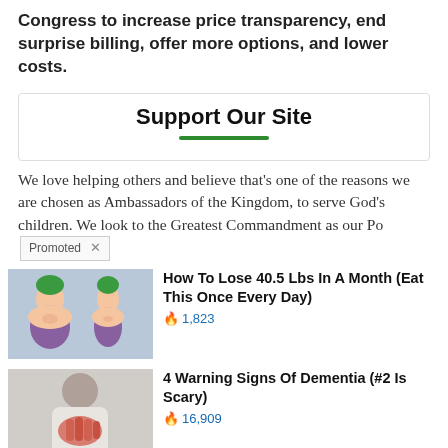Congress to increase price transparency, end surprise billing, offer more options, and lower costs.
Support Our Site
We love helping others and believe that's one of the reasons we are chosen as Ambassadors of the Kingdom, to serve God's children. We look to the Greatest Commandment as our Po[Promoted X]
[Figure (illustration): Ad thumbnail showing cartoon illustration of weight loss before/after (two figures in bikinis)]
How To Lose 40.5 Lbs In A Month (Eat This Once Every Day)
🔥 1,823
[Figure (photo): Ad thumbnail showing a person touching their chest/heart area with a reddish hand suggesting dementia warning signs]
4 Warning Signs Of Dementia (#2 Is Scary)
🔥 16,909